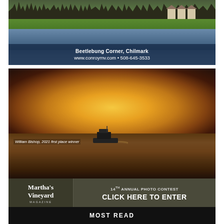[Figure (photo): Aerial/landscape photo of Beetlebung Corner, Chilmark with houses reflected in water, trees in background. Text overlay reads: Beetlebung Corner, Chilmark / www.conroymv.com • 508-645-3533]
[Figure (photo): Sunset photo of a boat on calm water with golden sky. Caption text on photo: William Bishop, 2021 first place winner. Banner below shows Martha's Vineyard Magazine logo and '14TH ANNUAL PHOTO CONTEST / CLICK HERE TO ENTER']
MOST READ